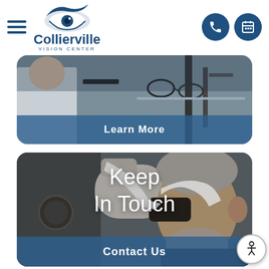Collierville Vision Center – navigation header with logo, menu, phone and calendar icons
[Figure (photo): Eye exam scene showing optometry equipment and glasses frames in background with a blue 'Learn More' button overlay at the bottom]
[Figure (photo): Elderly man undergoing an eye examination with slit lamp equipment, with 'Keep In Touch' text overlay and 'Contact Us' button]
Keep
In Touch
Contact Us